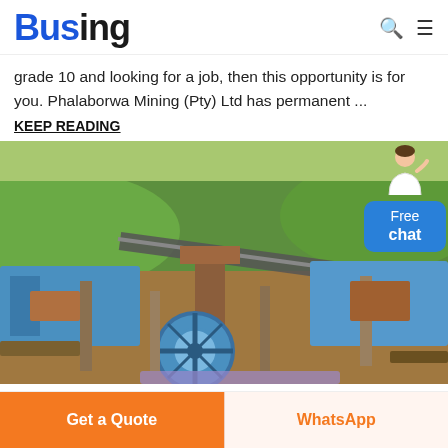Busing
grade 10 and looking for a job, then this opportunity is for you. Phalaborwa Mining (Pty) Ltd has permanent ...
KEEP READING
[Figure (photo): Mining equipment and machinery with green forested hills in the background. Large blue industrial machines, conveyor belts, and a wheel visible in the foreground.]
Get a Quote
WhatsApp